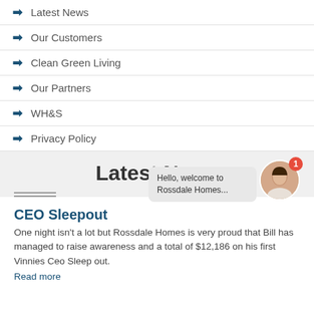Latest News
Our Customers
Clean Green Living
Our Partners
WH&S
Privacy Policy
Latest News
[Figure (illustration): Chat widget with female avatar and speech bubble saying 'Hello, welcome to Rossdale Homes...' with red notification badge showing 1]
CEO Sleepout
One night isn't a lot but Rossdale Homes is very proud that Bill has managed to raise awareness and a total of $12,186 on his first Vinnies Ceo Sleep out.
Read more